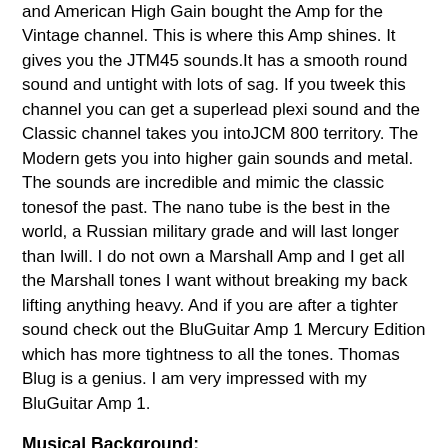and American High Gain bought the Amp for the Vintage channel. This is where this Amp shines. It gives you the JTM45 sounds.It has a smooth round sound and untight with lots of sag. If you tweek this channel you can get a superlead plexi sound and the Classic channel takes you intoJCM 800 territory. The Modern gets you into higher gain sounds and metal. The sounds are incredible and mimic the classic tonesof the past. The nano tube is the best in the world, a Russian military grade and will last longer than Iwill. I do not own a Marshall Amp and I get all the Marshall tones I want without breaking my back lifting anything heavy. And if you are after a tighter sound check out the BluGuitar Amp 1 Mercury Edition which has more tightness to all the tones. Thomas Blug is a genius. I am very impressed with my BluGuitar Amp 1.
Musical Background:
Experienced
Musical Style: